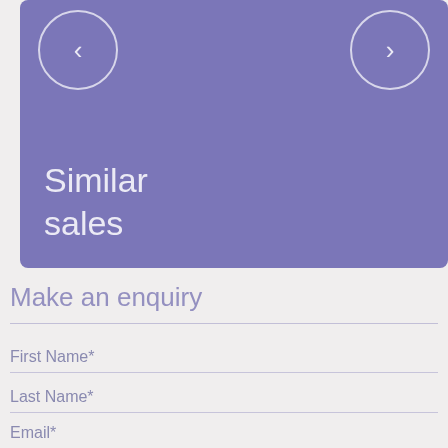[Figure (screenshot): Purple banner with left and right navigation circles and 'Similar sales' text overlay]
Make an enquiry
First Name*
Last Name*
Email*